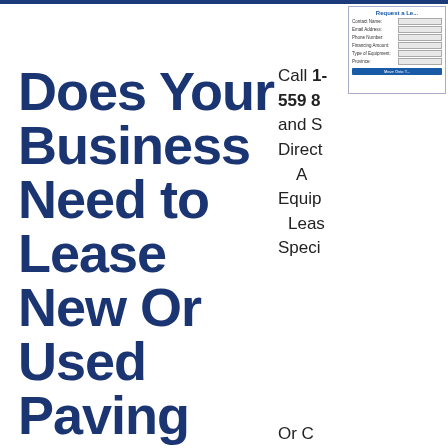[Figure (screenshot): A web form widget titled 'Request a Le...' with fields for Contact Name, Email Address, Phone Number, Financing Amount, Type of Equipment, Province, and a blue submit button.]
Does Your Business Need to Lease New Or Used Paving Equipment?
Call 1-
559 8...
and S...
Direct...
A...
Equip...
Leas...
Speci...
Or C...